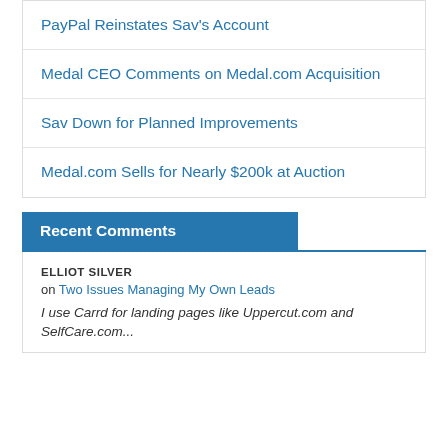PayPal Reinstates Sav's Account
Medal CEO Comments on Medal.com Acquisition
Sav Down for Planned Improvements
Medal.com Sells for Nearly $200k at Auction
Recent Comments
ELLIOT SILVER
on Two Issues Managing My Own Leads
I use Carrd for landing pages like Uppercut.com and SelfCare.com...